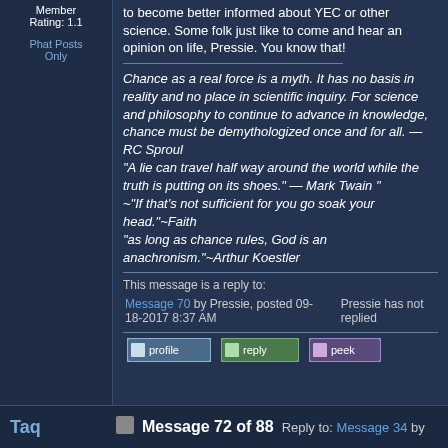Member Rating: 1.1
Phat Posts Only
to become better informed about YEC or other science. Some folk just like to come and hear an opinion on life, Pressie. You know that!
Chance as a real force is a myth. It has no basis in reality and no place in scientific inquiry. For science and philosophy to continue to advance in knowledge, chance must be demythologized once and for all. — RC Sproul
"A lie can travel half way around the world while the truth is putting on its shoes." — Mark Twain "
~"If that's not sufficient for you go soak your head."~Faith
"as long as chance rules, God is an anachronism."~Arthur Koestler
This message is a reply to:
Message 70 by Pressie, posted 09-18-2017 8:37 AM
Pressie has not replied
Message 72 of 88
Reply to: Message 34 by